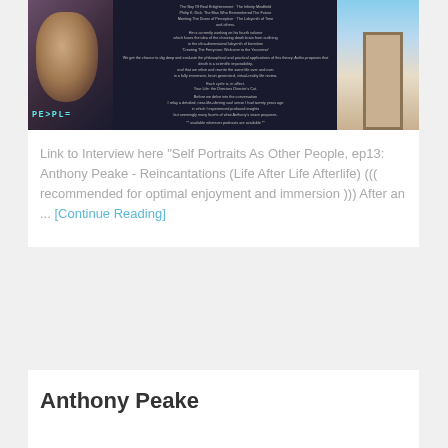[Figure (photo): Podcast thumbnail image for 'Self Portraits As Other People' episode 13 with Anthony Peake. Dark background with a face on the left side, text in the center, and a door image on the right. 'PEOPLE' text visible in cyan at bottom left.]
Link to Interview here "Self Portraits As Other People, ep13: Anthony Peake - Reincantations (Life After Life Afterlife) (((  recommended for optimal enjoyment and immersion ))) After an ... [Continue Reading]
Anthony Peake